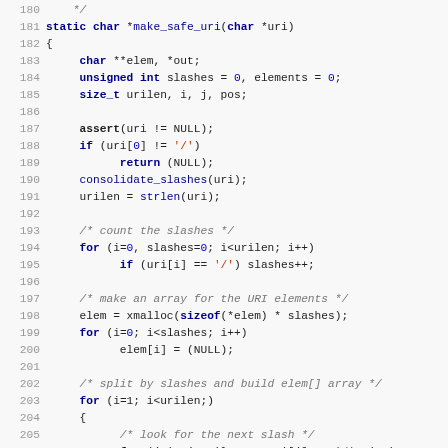[Figure (screenshot): Source code listing showing lines 180-211 of a C function make_safe_uri that processes URI strings, counting slashes, building element arrays, and splitting by slashes.]